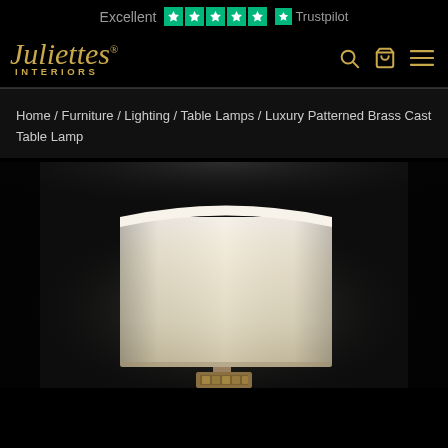Excellent ★★★★★ Trustpilot
[Figure (logo): Juliette's Interiors logo in gold italic script with INTERIORS in small caps below, and navigation icons (search, cart, hamburger menu) in gold on the right]
Home / Furniture / Lighting / Table Lamps / Luxury Patterned Brass Cast Table Lamp
[Figure (photo): A luxury table lamp with a large cream/off-white cylindrical lampshade photographed against a dark black background. The lamp base appears to be ornate brass/gold colored. The shade is illuminated from below showing a warm light.]